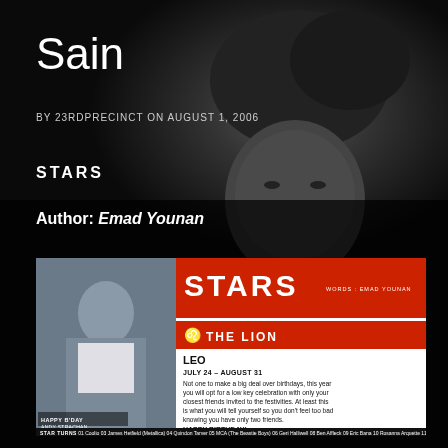[Figure (photo): Dark background photo of a man with windswept hair staring at camera, black and white moody portrait]
Sain
BY 23RDPRECINCT ON AUGUST 1, 2006
STARS
Author: Emad Younan
[Figure (infographic): Stars horoscope card for Leo / The Lion by Emad Younan. Shows hockey player Andy Strachan photo on left, red STARS header, Leo dates July 24 - August 31 with horoscope text about low key birthday celebration and HAPPY BIRTHDAY message. Bottom strip: STAR TURNS listing 01 Coolio 03 James Hetfield (Metallica) 04 Quindon Tarver 05 MCA (The Beastie Boys) 06 Geri Halliwell 08 Ben Affleck 09 Eric Bana 10 Rosanna Arquette 11 Hulk Hogan 12 Mark Knopfler (Dire Straits) 13 Alfred]